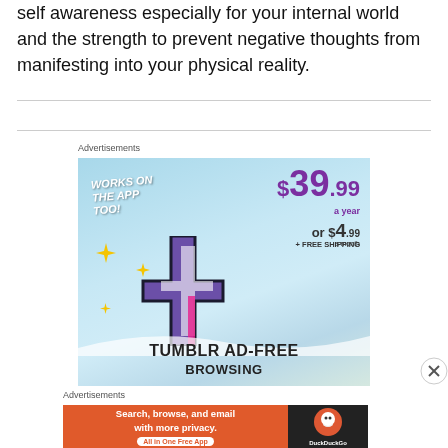self awareness especially for your internal world and the strength to prevent negative thoughts from manifesting into your physical reality.
Advertisements
[Figure (screenshot): Tumblr Ad-Free Browsing advertisement banner showing Tumblr logo with price $39.99 a year or $4.99 a month plus free shipping, with text 'Works on the App Too!']
Advertisements
[Figure (screenshot): DuckDuckGo advertisement banner: Search, browse, and email with more privacy. All in One Free App]